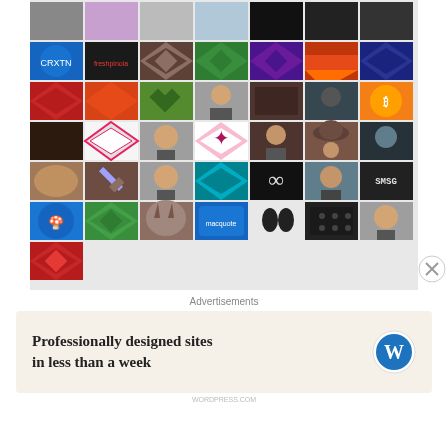[Figure (photo): Grid of avatar/profile images and geometric pattern thumbnails arranged in a 7-column grid across 7 rows]
Advertisements
[Figure (infographic): Advertisement banner with WordPress logo reading: Professionally designed sites in less than a week]